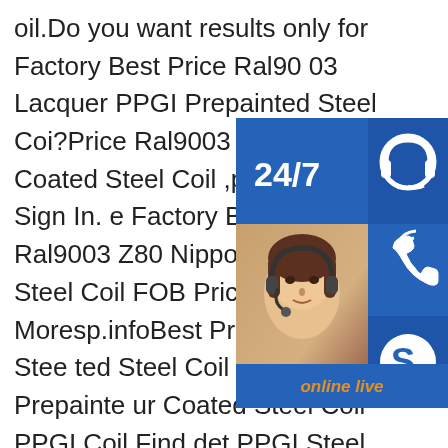oil.Do you want results only for Factory Best Price Ral9003 Lacquer PPGI Prepainted Steel Coi?Price Ral9003 Prepainted Coated Steel Coil ,page1.Menu Sign In.e Factory Best Price Ral9003 Z80 Nippo Prepainted Steel Coil FOB Price US $43 n Moresp.infoBest Price Prepainted Stee ted Steel Coil China Best Price Prepainte ur Coated Steel Coil PPGI Coil,Find det PPGI Steel Coil,Prepainted Galvanized S est Price Prepainted Steel Coi Colour C PPGI Coil This is a leading company spe facturing color coated aluminum coil,prepainted galvanized steel coil,prepainted galvalume steel coil,galvanized steel coil,galvalume steel sheet and corrugated roofing sheet etc..sp.infoImages of T3 2.8 2.8 Metal packing Tinplate Sheet Etp Steel C.imagesChina ETP 2.8/2.8 Tin Coating
[Figure (infographic): Customer service widget with 24/7 label, headset icon, phone icon, Skype icon, photo of woman with headset, PROVIDE Empowering Customers text, and online live button]